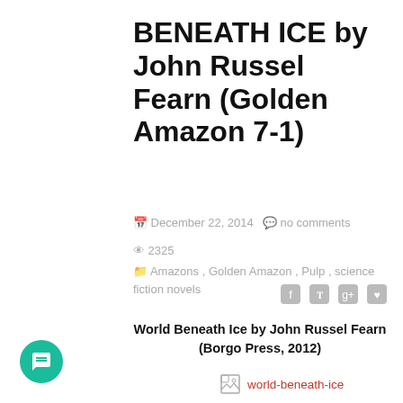BENEATH ICE by John Russel Fearn (Golden Amazon 7-1)
December 22, 2014   no comments   2325
Amazons, Golden Amazon, Pulp, science fiction novels
World Beneath Ice by John Russel Fearn (Borgo Press, 2012)
[Figure (other): Broken image placeholder with link text 'world-beneath-ice' in red]